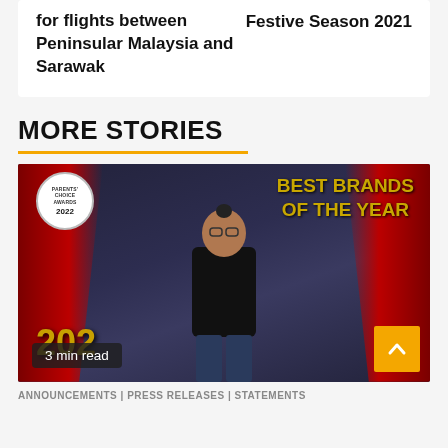for flights between Peninsular Malaysia and Sarawak
Festive Season 2021
MORE STORIES
[Figure (photo): A man standing in front of a 'Best Brands of the Year' and 'Parents Choice Awards 2022' backdrop, with red curtains and gold lettering. Gold '202' trophy numbers visible at bottom left. '3 min read' label and arrow-up button overlay.]
ANNOUNCEMENTS | PRESS RELEASES | STATEMENTS